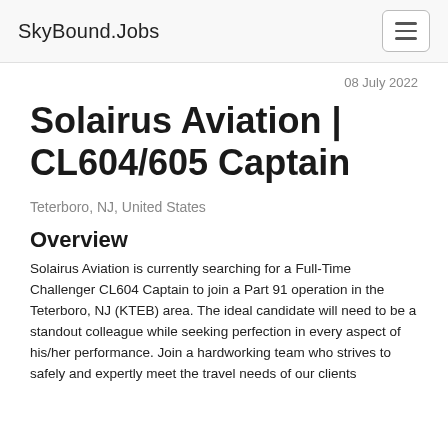SkyBound.Jobs
08 July 2022
Solairus Aviation | CL604/605 Captain
Teterboro, NJ, United States
Overview
Solairus Aviation is currently searching for a Full-Time Challenger CL604 Captain to join a Part 91 operation in the Teterboro, NJ (KTEB) area. The ideal candidate will need to be a standout colleague while seeking perfection in every aspect of his/her performance. Join a hardworking team who strives to safely and expertly meet the travel needs of our clients